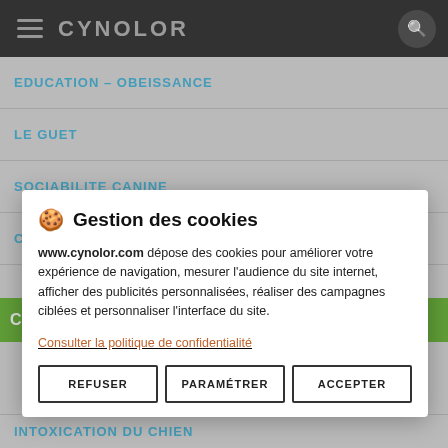CYNOLOR
EDUCATION – OBEISSANCE
LE GUET
SOCIABILITE CANINE
COURS FRAPPE MUSELEE
🍪  Gestion des cookies
www.cynolor.com dépose des cookies pour améliorer votre expérience de navigation, mesurer l'audience du site internet, afficher des publicités personnalisées, réaliser des campagnes ciblées et personnaliser l'interface du site.
Consulter la politique de confidentialité
REFUSER
PARAMÉTRER
ACCEPTER
INTOXICATION DU CHIEN